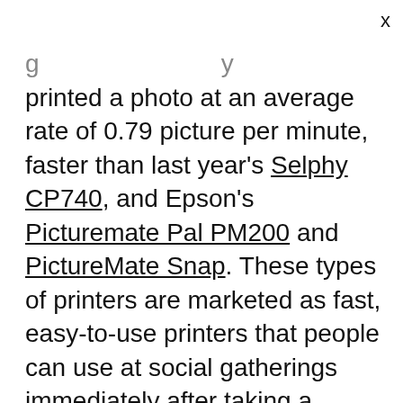printed a photo at an average rate of 0.79 picture per minute, faster than last year's Selphy CP740, and Epson's Picturemate Pal PM200 and PictureMate Snap. These types of printers are marketed as fast, easy-to-use printers that people can use at social gatherings immediately after taking a photo, and we're impressed that Canon is still ahead of the competition. The Selphy handled a wide range of color with precise detail and separation. Our pictures had a soft feel to them and could use a warmer tone, but we feel comfortable recommending the CP760 for the amateur photographer and home user